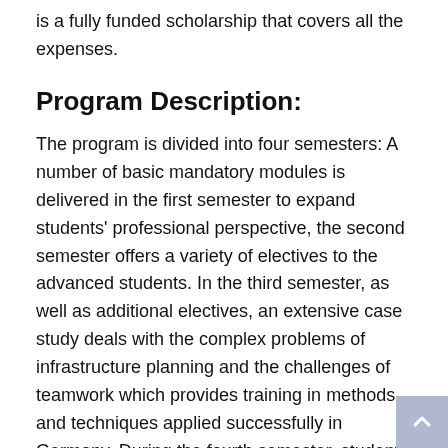is a fully funded scholarship that covers all the expenses.
Program Description:
The program is divided into four semesters: A number of basic mandatory modules is delivered in the first semester to expand students' professional perspective, the second semester offers a variety of electives to the advanced students. In the third semester, as well as additional electives, an extensive case study deals with the complex problems of infrastructure planning and the challenges of teamwork which provides training in methods and techniques applied successfully in Germany. During the fourth semester, students write their Master's thesis about how to tackle a